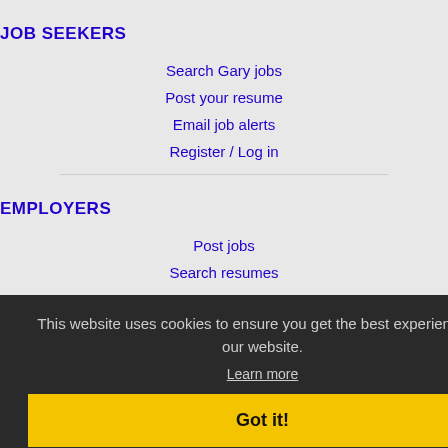JOB SEEKERS
Search Gary jobs
Post your resume
Email job alerts
Register / Log in
EMPLOYERS
Post jobs
Search resumes
This website uses cookies to ensure you get the best experience on our website.
Learn more
Got it!
IMMIGRATION SPECIALISTS
Post jobs